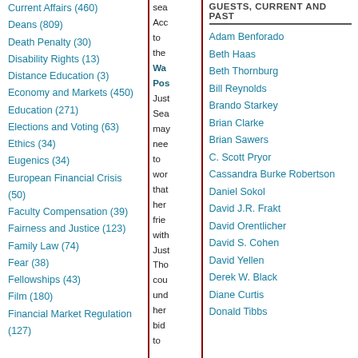Current Affairs (460)
Deans (809)
Death Penalty (30)
Disability Rights (13)
Distance Education (3)
Economy and Markets (450)
Education (271)
Elections and Voting (63)
Ethics (34)
Eugenics (34)
European Financial Crisis (50)
Faculty Compensation (39)
Fairness and Justice (123)
Family Law (74)
Fear (38)
Fellowships (43)
Film (180)
Financial Market Regulation (127)
sea Acc to the Wa Pos Just Sea may nee to wor that her frie with Just Tho cou und her bid to
GUESTS, CURRENT AND PAST
Adam Benforado
Beth Haas
Beth Thornburg
Bill Reynolds
Brando Starkey
Brian Clarke
Brian Sawers
C. Scott Pryor
Cassandra Burke Robertson
Daniel Sokol
David J.R. Frakt
David Orentlicher
David S. Cohen
David Yellen
Derek W. Black
Diane Curtis
Donald Tibbs